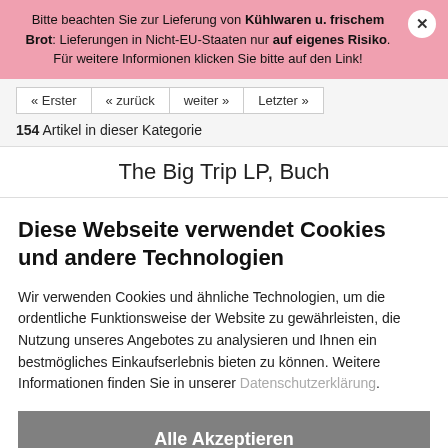Bitte beachten Sie zur Lieferung von Kühlwaren u. frischem Brot: Lieferungen in Nicht-EU-Staaten nur auf eigenes Risiko. Für weitere Informionen klicken Sie bitte auf den Link!
« Erster   « zurück   weiter »   Letzter »
154 Artikel in dieser Kategorie
The Big Trip LP, Buch
Diese Webseite verwendet Cookies und andere Technologien
Wir verwenden Cookies und ähnliche Technologien, um die ordentliche Funktionsweise der Website zu gewährleisten, die Nutzung unseres Angebotes zu analysieren und Ihnen ein bestmögliches Einkaufserlebnis bieten zu können. Weitere Informationen finden Sie in unserer Datenschutzerklärung.
Alle Akzeptieren
Weitere Informationen